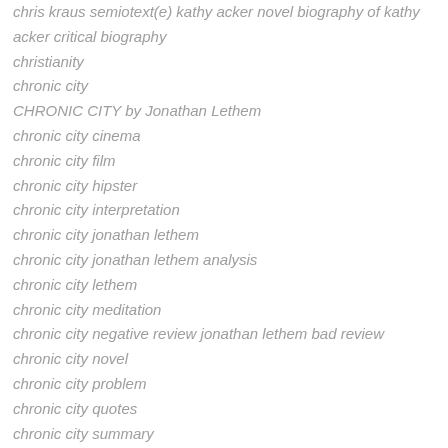chris kraus semiotext(e) kathy acker novel biography of kathy acker critical biography
christianity
chronic city
CHRONIC CITY by Jonathan Lethem
chronic city cinema
chronic city film
chronic city hipster
chronic city interpretation
chronic city jonathan lethem
chronic city jonathan lethem analysis
chronic city lethem
chronic city meditation
chronic city negative review jonathan lethem bad review
chronic city novel
chronic city problem
chronic city quotes
chronic city summary